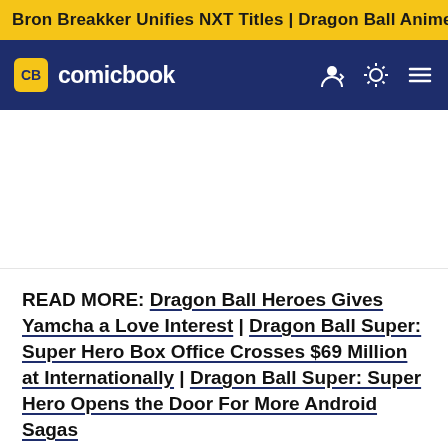Bron Breakker Unifies NXT Titles | Dragon Ball Anime Rumor
CB comicbook
READ MORE: Dragon Ball Heroes Gives Yamcha a Love Interest | Dragon Ball Super: Super Hero Box Office Crosses $69 Million at Internationally | Dragon Ball Super: Super Hero Opens the Door For More Android Sagas